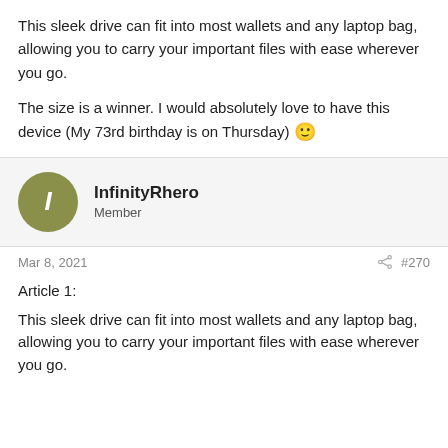This sleek drive can fit into most wallets and any laptop bag, allowing you to carry your important files with ease wherever you go.

The size is a winner. I would absolutely love to have this device (My 73rd birthday is on Thursday) 🙂
InfinityRhero
Member
Mar 8, 2021  #270
Article 1:
This sleek drive can fit into most wallets and any laptop bag, allowing you to carry your important files with ease wherever you go.